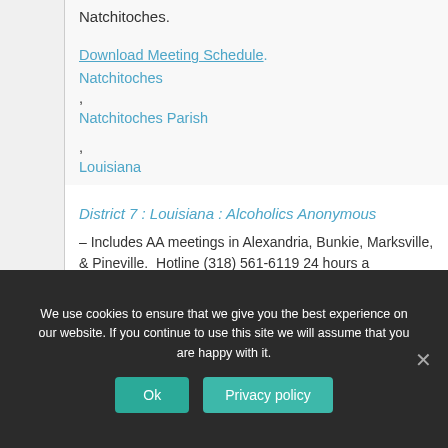Natchitoches.
Download Meeting Schedule. Natchitoches, Natchitoches Parish, Louisiana.
District 7 : Louisiana : Alcoholics Anonymous – Includes AA meetings in Alexandria, Bunkie, Marksville, & Pineville.  Hotline (318) 561-6119 24 hours a
We use cookies to ensure that we give you the best experience on our website. If you continue to use this site we will assume that you are happy with it.